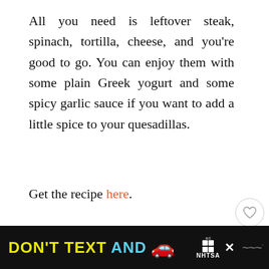All you need is leftover steak, spinach, tortilla, cheese, and you're good to go. You can enjoy them with some plain Greek yogurt and some spicy garlic sauce if you want to add a little spice to your quesadillas.
Get the recipe here.
[Figure (other): Heart/like button icon (circular white button with heart outline)]
[Figure (other): Share badge showing count 196 and share icon in teal/green color]
[Figure (other): What's Next panel with thumbnail and text '23 Leftover Lamb Recip...']
[Figure (other): Advertisement banner at bottom: DON'T TEXT AND [car emoji] with NHTSA branding on black background]